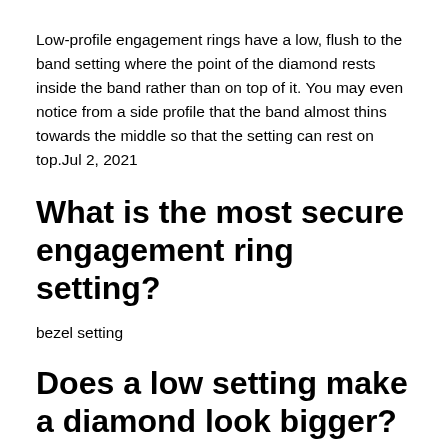Low-profile engagement rings have a low, flush to the band setting where the point of the diamond rests inside the band rather than on top of it. You may even notice from a side profile that the band almost thins towards the middle so that the setting can rest on top.Jul 2, 2021
What is the most secure engagement ring setting?
bezel setting
Does a low setting make a diamond look bigger?
If you select a setting with a slim band and slim prongs, your center diamond will look larger in comparison. On the other